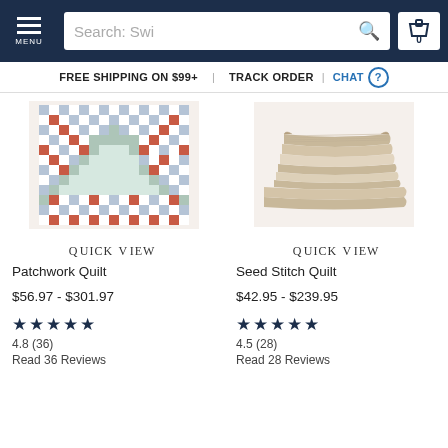MENU | Search: Swi | 0
FREE SHIPPING ON $99+   TRACK ORDER | CHAT
[Figure (photo): Patchwork quilt with diamond/chevron pattern in red, blue, and white squares]
[Figure (photo): Stack of folded beige/tan quilts]
QUICK VIEW
Patchwork Quilt
$56.97 - $301.97
★★★★★ 4.8 (36) Read 36 Reviews
QUICK VIEW
Seed Stitch Quilt
$42.95 - $239.95
★★★★★ 4.5 (28) Read 28 Reviews